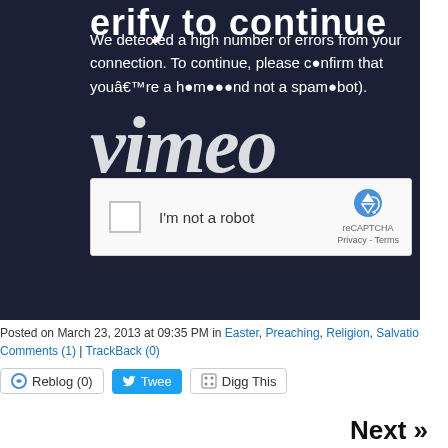[Figure (screenshot): Vimeo dark blue CAPTCHA verification screen with 'Verify to continue' heading, error message text, large Vimeo logo watermark, and reCAPTCHA 'I'm not a robot' checkbox widget]
Posted on March 23, 2013 at 09:35 PM in Easter, Preaching, Religion, Salvatio
Comments (1) | TrackBack (0)
Reblog (0)  Tweet  Digg This
Next »